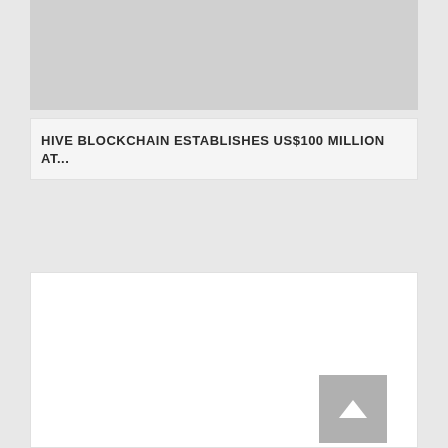[Figure (photo): Grey placeholder image box at top of page]
HIVE BLOCKCHAIN ESTABLISHES US$100 MILLION AT...
[Figure (other): White content area box, largely blank, with a grey back-to-top button in the lower right corner containing an upward-pointing arrow]